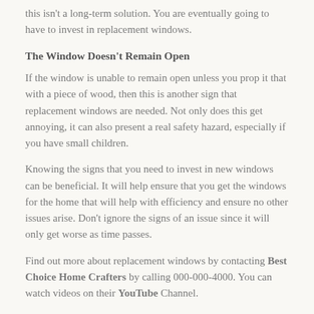this isn't a long-term solution. You are eventually going to have to invest in replacement windows.
The Window Doesn't Remain Open
If the window is unable to remain open unless you prop it that with a piece of wood, then this is another sign that replacement windows are needed. Not only does this get annoying, it can also present a real safety hazard, especially if you have small children.
Knowing the signs that you need to invest in new windows can be beneficial. It will help ensure that you get the windows for the home that will help with efficiency and ensure no other issues arise. Don't ignore the signs of an issue since it will only get worse as time passes.
Find out more about replacement windows by contacting Best Choice Home Crafters by calling 000-000-4000. You can watch videos on their YouTube Channel.